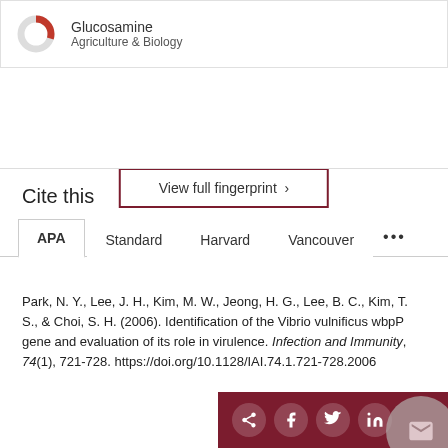[Figure (other): Donut chart icon with Glucosamine label and Agriculture & Biology subtitle]
View full fingerprint >
Cite this
APA  Standard  Harvard  Vancouver  ...
Park, N. Y., Lee, J. H., Kim, M. W., Jeong, H. G., Lee, B. C., Kim, T. S., & Choi, S. H. (2006). Identification of the Vibrio vulnificus wbpP gene and evaluation of its role in virulence. Infection and Immunity, 74(1), 721-728. https://doi.org/10.1128/IAI.74.1.721-728.2006
[Figure (other): Social share bar with share, Facebook, Twitter, LinkedIn, email icons on dark red background]